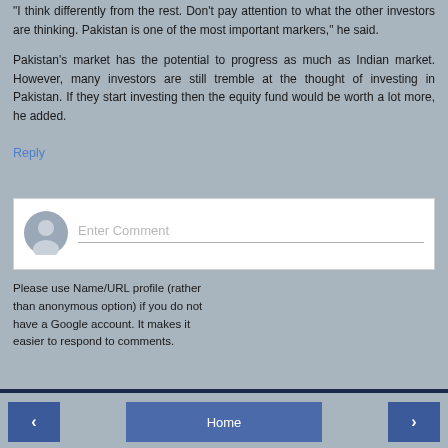"I think differently from the rest. Don't pay attention to what the other investors are thinking. Pakistan is one of the most important markers," he said.
Pakistan's market has the potential to progress as much as Indian market. However, many investors are still tremble at the thought of investing in Pakistan. If they start investing then the equity fund would be worth a lot more, he added.
Reply
[Figure (screenshot): Comment input box with avatar icon and 'Enter Comment' placeholder text]
Please use Name/URL profile (rather than anonymous option) if you do not have a Google account. It makes it easier to respond to comments.
‹   Home   ›